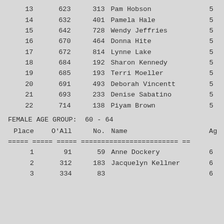| Place | O'All | No. | Name | Ag |
| --- | --- | --- | --- | --- |
| 13 | 623 | 313 | Pam Hobson | 5 |
| 14 | 632 | 401 | Pamela Hale | 5 |
| 15 | 642 | 728 | Wendy Jeffries | 5 |
| 16 | 670 | 464 | Donna Hite | 5 |
| 17 | 672 | 814 | Lynne Lake | 5 |
| 18 | 684 | 192 | Sharon Kennedy | 5 |
| 19 | 685 | 193 | Terri Moeller | 5 |
| 20 | 691 | 493 | Deborah Vincentt | 5 |
| 21 | 693 | 233 | Denise Sabatino | 5 |
| 22 | 714 | 138 | Piyam Brown | 5 |
FEMALE AGE GROUP:  60 - 64
| Place | O'All | No. | Name | Ag |
| --- | --- | --- | --- | --- |
| 1 | 91 | 59 | Anne Dockery | 6 |
| 2 | 312 | 183 | Jacquelyn Kellner | 6 |
| 3 | 334 | 83 | ... | 6 |